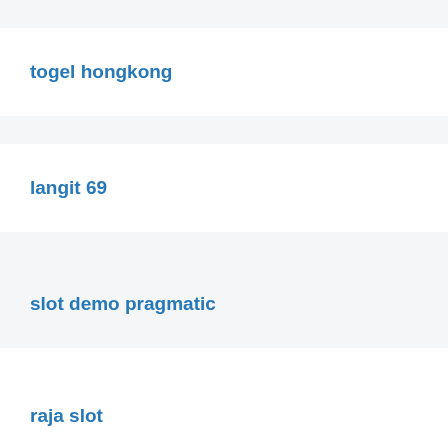togel hongkong
langit 69
slot demo pragmatic
raja slot